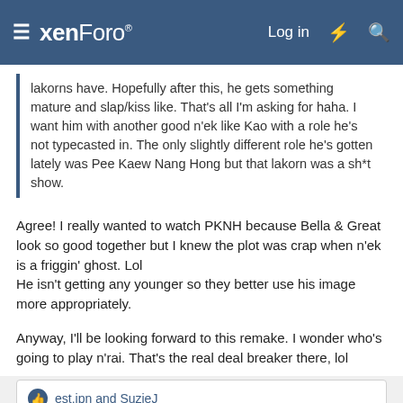xenForo | Log in
lakorns have. Hopefully after this, he gets something mature and slap/kiss like. That's all I'm asking for haha. I want him with another good n'ek like Kao with a role he's not typecasted in. The only slightly different role he's gotten lately was Pee Kaew Nang Hong but that lakorn was a sh*t show.
Agree! I really wanted to watch PKNH because Bella & Great look so good together but I knew the plot was crap when n'ek is a friggin' ghost. Lol
He isn't getting any younger so they better use his image more appropriately.
Anyway, I'll be looking forward to this remake. I wonder who's going to play n'rai. That's the real deal breaker there, lol
est.jpn and SuzieJ
Koy123
sarNie OldFart